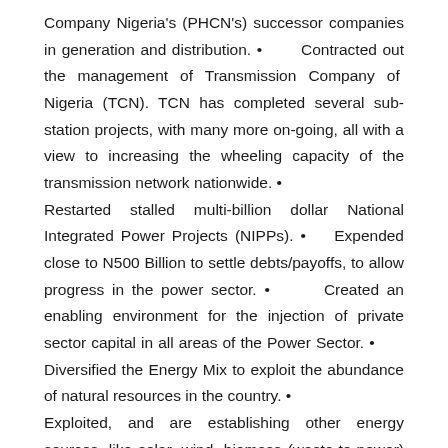Company Nigeria's (PHCN's) successor companies in generation and distribution. • Contracted out the management of Transmission Company of Nigeria (TCN). TCN has completed several sub-station projects, with many more on-going, all with a view to increasing the wheeling capacity of the transmission network nationwide. • Restarted stalled multi-billion dollar National Integrated Power Projects (NIPPs). • Expended close to N500 Billion to settle debts/payoffs, to allow progress in the power sector. • Created an enabling environment for the injection of private sector capital in all areas of the Power Sector. • Diversified the Energy Mix to exploit the abundance of natural resources in the country. • Exploited, and are establishing other energy sources, like solar, wind, biomass (waste-to-power) to complement and supplement the limited power generation and supply available in Nigeria. • Initiated Operation Light-up Rural